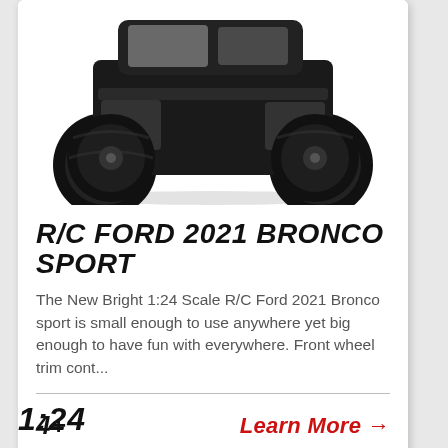[Figure (photo): Photo of a black RC Ford Bronco Sport toy vehicle with large off-road tires, viewed from a 3/4 angle showing front and top]
R/C FORD 2021 BRONCO SPORT
The New Bright 1:24 Scale R/C Ford 2021 Bronco sport is small enough to use anywhere yet big enough to have fun with everywhere. Front wheel trim cont...
4+
Learn More →
1:24